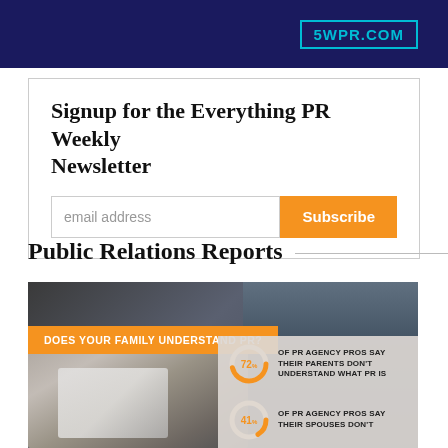5WPR.COM
Signup for the Everything PR Weekly Newsletter
email address
Public Relations Reports
[Figure (infographic): Infographic titled 'Does Your Family Understand PR?' showing a child using a tablet with two statistics: 72% of PR agency pros say their parents don't understand what PR is; 41% of PR agency pros say their spouses don't (text cut off).]